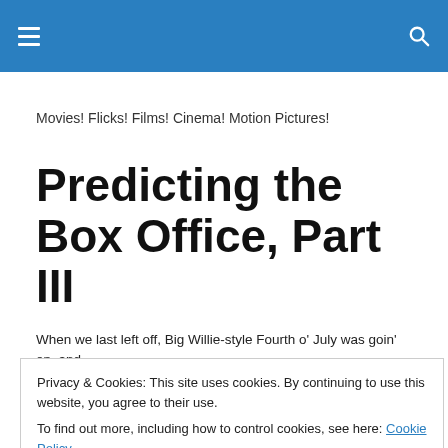≡  🔍
Movies! Flicks! Films! Cinema! Motion Pictures!
Predicting the Box Office, Part III
When we last left off, Big Willie-style Fourth o' July was goin' on, and
Privacy & Cookies: This site uses cookies. By continuing to use this website, you agree to their use.
To find out more, including how to control cookies, see here: Cookie Policy
Close and accept
GoldenArmy. What shocked me were the differing opinions between the